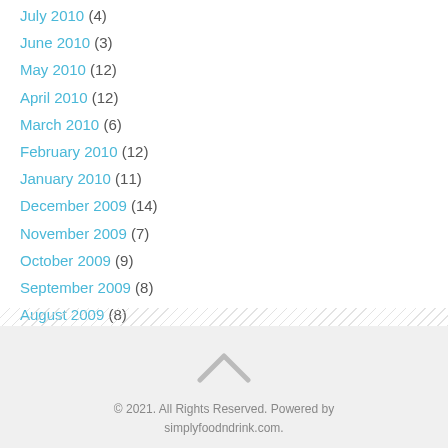July 2010 (4)
June 2010 (3)
May 2010 (12)
April 2010 (12)
March 2010 (6)
February 2010 (12)
January 2010 (11)
December 2009 (14)
November 2009 (7)
October 2009 (9)
September 2009 (8)
August 2009 (8)
May 2009 (6)
April 2009 (5)
[Figure (other): Follow me on Pinterest button]
© 2021. All Rights Reserved. Powered by simplyfoodndrink.com.